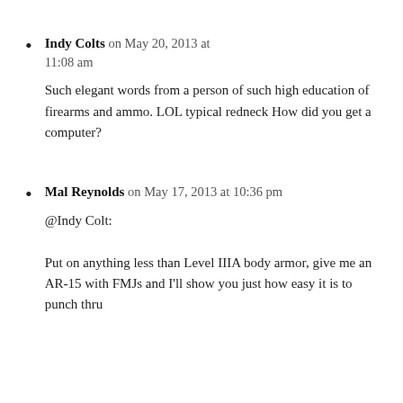Indy Colts on May 20, 2013 at 11:08 am
Such elegant words from a person of such high education of firearms and ammo. LOL typical redneck How did you get a computer?
Mal Reynolds on May 17, 2013 at 10:36 pm
@Indy Colt:
Put on anything less than Level IIIA body armor, give me an AR-15 with FMJs and I'll show you just how easy it is to punch thru